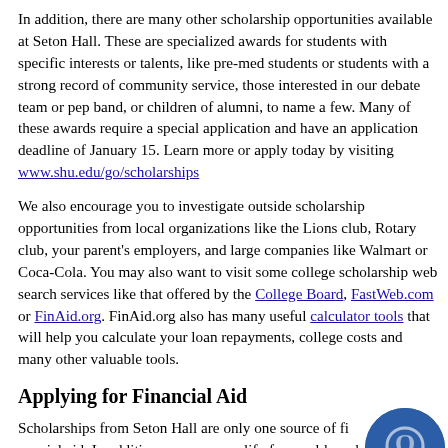In addition, there are many other scholarship opportunities available at Seton Hall. These are specialized awards for students with specific interests or talents, like pre-med students or students with a strong record of community service, those interested in our debate team or pep band, or children of alumni, to name a few. Many of these awards require a special application and have an application deadline of January 15. Learn more or apply today by visiting www.shu.edu/go/scholarships
We also encourage you to investigate outside scholarship opportunities from local organizations like the Lions club, Rotary club, your parent's employers, and large companies like Walmart or Coca-Cola. You may also want to visit some college scholarship web search services like that offered by the College Board, FastWeb.com or FinAid.org. FinAid.org also has many useful calculator tools that will help you calculate your loan repayments, college costs and many other valuable tools.
Applying for Financial Aid
[Figure (logo): Dark blue circular logo/seal with a stylized Q or decorative emblem in the center]
Scholarships from Seton Hall are only one source of financial aid. In addition, you may qualify for need-based assistance from the federal or state government, as well as from Seton Hall University. The only way to find out if you qualify is to file the Free